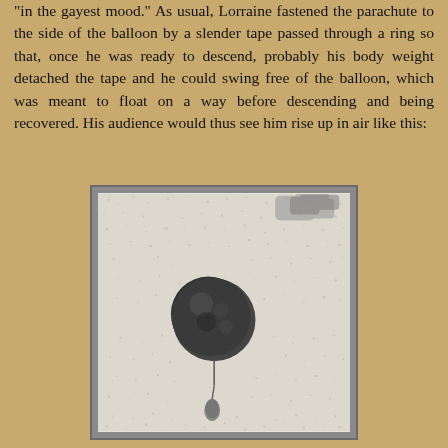“in the gayest mood.” As usual, Lorraine fastened the parachute to the side of the balloon by a slender tape passed through a ring so that, once he was ready to descend, probably his body weight detached the tape and he could swing free of the balloon, which was meant to float on a way before descending and being recovered. His audience would thus see him rise up in air like this:
[Figure (photo): A grainy black and white photograph showing a balloon in the air with a small figure (parachutist) hanging below it by a line. The background appears to be a mottled sky.]